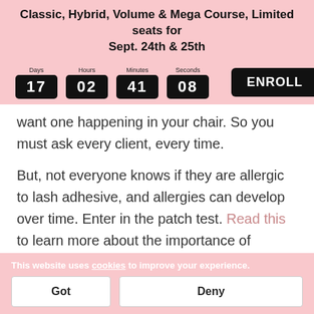Classic, Hybrid, Volume & Mega Course, Limited seats for Sept. 24th & 25th
[Figure (infographic): Countdown timer showing 17 Days, 02 Hours, 41 Minutes, 08 Seconds with an ENROLL button and accessibility icon]
want one happening in your chair. So you must ask every client, every time.
But, not everyone knows if they are allergic to lash adhesive, and allergies can develop over time. Enter in the patch test. Read this to learn more about the importance of
This website uses cookies to improve your experience.
Got
Deny